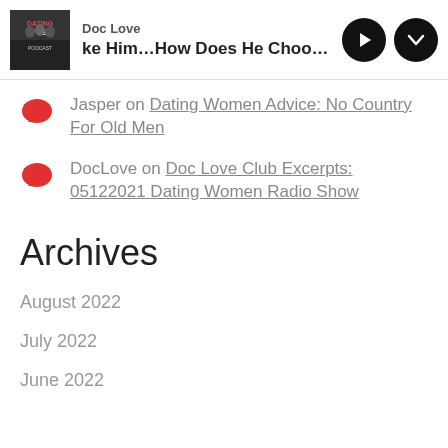Doc Love | ke Him...How Does He Choose?
Jasper on Dating Women Advice: No Country For Old Men
DocLove on Doc Love Club Excerpts: 05122021 Dating Women Radio Show
Archives
August 2022
July 2022
June 2022